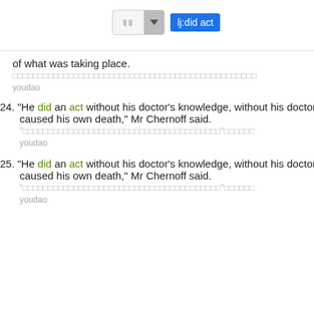[Figure (screenshot): Search toolbar UI with text input box showing Chinese characters and a dropdown arrow, and a blue highlighted search term 'lj:did act']
of what was taking place.
Chinese translation text (greyed out)
youdao
24. "He did an act without his doctor's knowledge, without his doctor's pe... caused his own death," Mr Chernoff said.
Chinese translation text (greyed out)
youdao
25. "He did an act without his doctor's knowledge, without his doctor's pe... caused his own death," Mr Chernoff said.
Chinese translation text (greyed out)
youdao